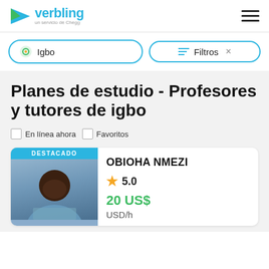verbling - un servicio de Chegg
Igbo
Filtros
Planes de estudio - Profesores y tutores de igbo
En línea ahora
Favoritos
DESTACADO
OBIOHA NMEZI
5.0
20 US$
USD/h